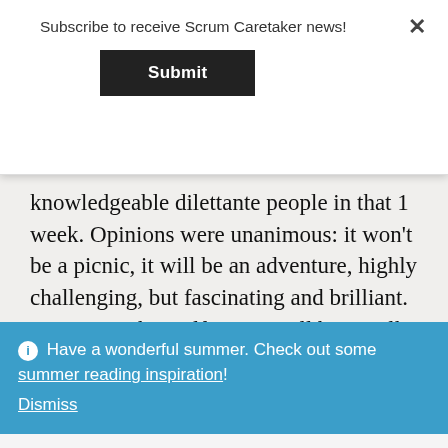Subscribe to receive Scrum Caretaker news!
Submit
knowledgeable dilettante people in that 1 week. Opinions were unanimous: it won't be a picnic, it will be an adventure, highly challenging, but fascinating and brilliant. Hmm, Ken himself says it will be a walk in the park. But that's probably because he knows of many motivations that I have
ⓘ Have a wonderful summer. Check out some summer reading inspiration! Dismiss